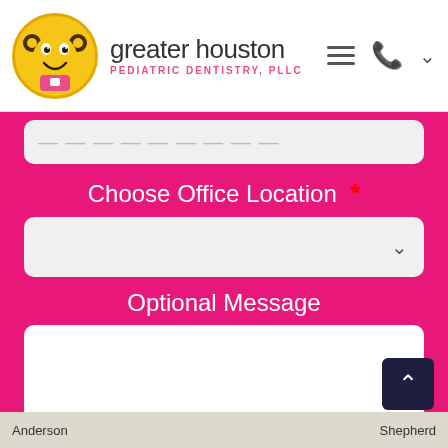[Figure (logo): Greater Houston Pediatric Dentistry, PLLC logo with cartoon child character in yellow circle and navigation icons]
Choose Office Location *
Optional Message
Submit Form!